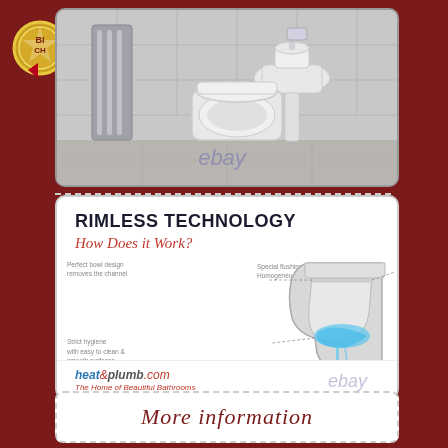[Figure (photo): Bathroom scene showing a rimless toilet, wall-hung basin with pedestal, and heated towel rail against grey tiled walls. eBay watermark overlaid.]
[Figure (infographic): Rimless Technology infographic titled 'RIMLESS TECHNOLOGY - How Does it Work?' showing a cross-section diagram of a rimless toilet bowl with three labelled callouts: 'Perfect bowl design removes the channel', 'Special flushing system Homogeneous water distribution', and 'Strict hygiene with easy to clean & smooth surfaces'. Heat&plumb.com logo and tagline 'The Home of Beautiful Bathrooms' at bottom. eBay watermark overlaid.]
More information